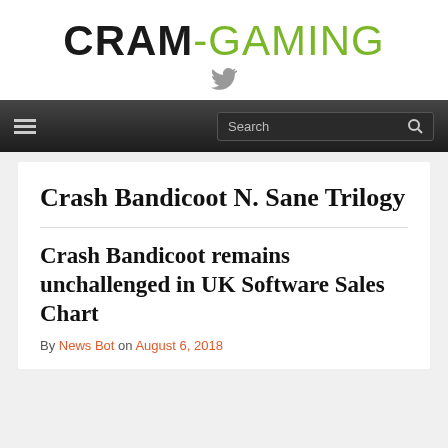CRAM-GAMING
[Figure (logo): Twitter bird icon in gray]
Crash Bandicoot N. Sane Trilogy
Crash Bandicoot remains unchallenged in UK Software Sales Chart
By News Bot on August 6, 2018